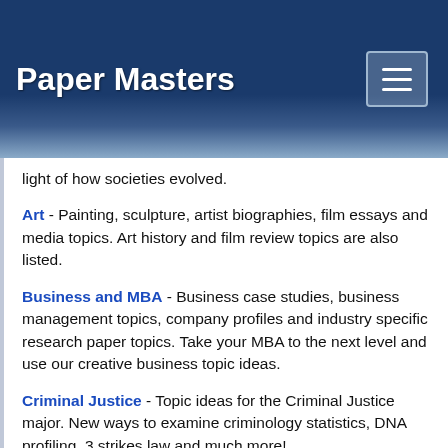Paper Masters
light of how societies evolved.
Art - Painting, sculpture, artist biographies, film essays and media topics. Art history and film review topics are also listed.
Business and MBA - Business case studies, business management topics, company profiles and industry specific research paper topics. Take your MBA to the next level and use our creative business topic ideas.
Criminal Justice - Topic ideas for the Criminal Justice major. New ways to examine criminology statistics, DNA profiling, 3 strikes law and much more!
Economics - Economics topics from Adam Smith to